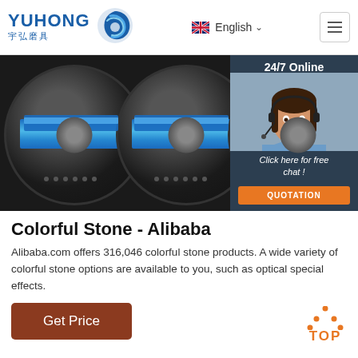YUHONG 宇弘磨具 — English navigation header
[Figure (photo): Three black abrasive cutting discs with blue stripe and metallic center, arranged overlapping; Yuhong brand product photo]
[Figure (photo): 24/7 Online chat overlay with smiling woman wearing headset, dark blue background, 'Click here for free chat!' text, and orange QUOTATION button]
Colorful Stone - Alibaba
Alibaba.com offers 316,046 colorful stone products. A wide variety of colorful stone options are available to you, such as optical special effects.
[Figure (other): Brown 'Get Price' button]
[Figure (other): Orange TOP scroll-to-top button with dot-triangle icon]